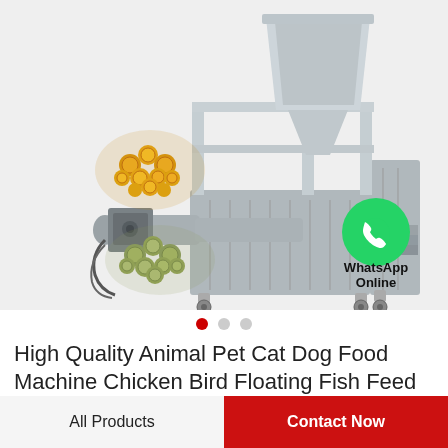[Figure (photo): Industrial pet/fish food extruder machine (twin screw type) in stainless steel, with a hopper on top, a motor on the left side, and sample kibble/pellets shown in foreground (orange and green). WhatsApp Online badge with green phone icon at bottom right of image. Carousel navigation dots below image: one red (active), two grey (inactive).]
High Quality Animal Pet Cat Dog Food Machine Chicken Bird Floating Fish Feed Twin Screw…
All Products
Contact Now